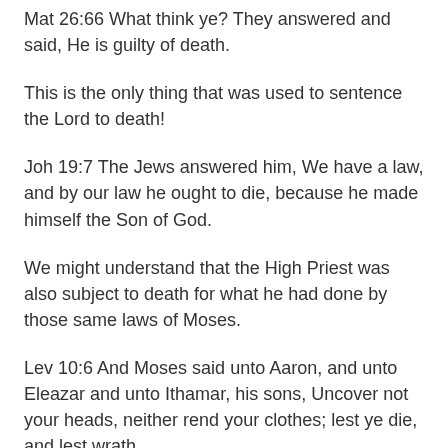Mat 26:66 What think ye? They answered and said, He is guilty of death.
This is the only thing that was used to sentence the Lord to death!
Joh 19:7 The Jews answered him, We have a law, and by our law he ought to die, because he made himself the Son of God.
We might understand that the High Priest was also subject to death for what he had done by those same laws of Moses.
Lev 10:6 And Moses said unto Aaron, and unto Eleazar and unto Ithamar, his sons, Uncover not your heads, neither rend your clothes; lest ye die, and lest wrath